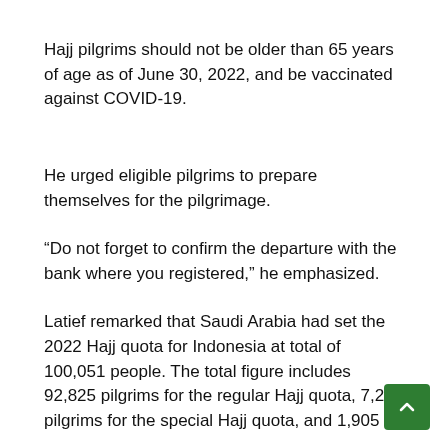Hajj pilgrims should not be older than 65 years of age as of June 30, 2022, and be vaccinated against COVID-19.
He urged eligible pilgrims to prepare themselves for the pilgrimage.
“Do not forget to confirm the departure with the bank where you registered,” he emphasized.
Latief remarked that Saudi Arabia had set the 2022 Hajj quota for Indonesia at total of 100,051 people. The total figure includes 92,825 pilgrims for the regular Hajj quota, 7,226 pilgrims for the special Hajj quota, and 1,905